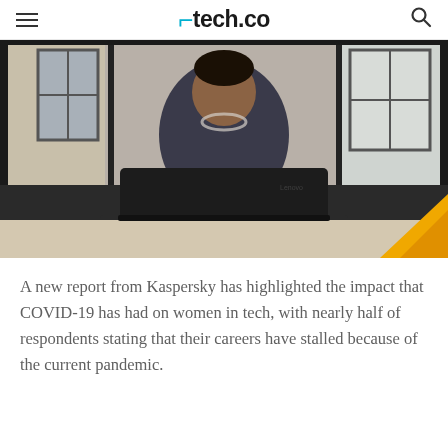tech.co
[Figure (photo): A woman wearing a pearl necklace and floral top working on a Lenovo ThinkPad laptop at a desk near a large window, viewed from across the table.]
A new report from Kaspersky has highlighted the impact that COVID-19 has had on women in tech, with nearly half of respondents stating that their careers have stalled because of the current pandemic.